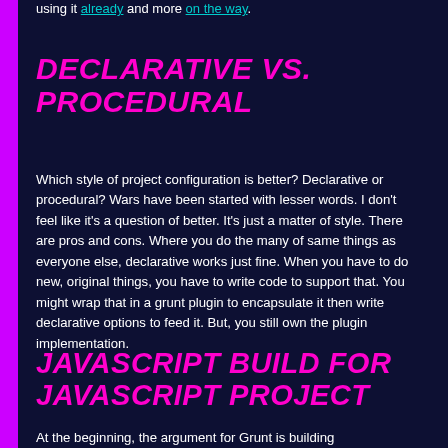using it already and more on the way.
DECLARATIVE VS. PROCEDURAL
Which style of project configuration is better? Declarative or procedural? Wars have been started with lesser words. I don't feel like it's a question of better. It's just a matter of style. There are pros and cons. Where you do the many of same things as everyone else, declarative works just fine. When you have to do new, original things, you have to write code to support that. You might wrap that in a grunt plugin to encapsulate it then write declarative options to feed it. But, you still own the plugin implementation.
JAVASCRIPT BUILD FOR JAVASCRIPT PROJECT
At the beginning, the argument for Grunt is building...